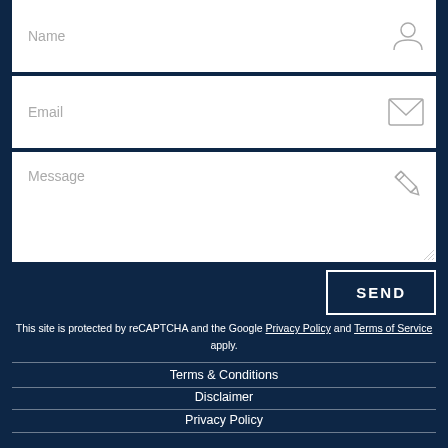[Figure (screenshot): Contact form with Name, Email, and Message input fields with icons, on a dark navy background]
SEND
This site is protected by reCAPTCHA and the Google Privacy Policy and Terms of Service apply.
Terms & Conditions
Disclaimer
Privacy Policy
Affiliated Business Disclosure
Accessibility